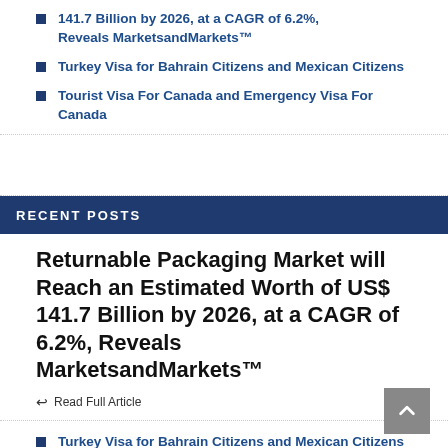141.7 Billion by 2026, at a CAGR of 6.2%, Reveals MarketsandMarkets™
Turkey Visa for Bahrain Citizens and Mexican Citizens
Tourist Visa For Canada and Emergency Visa For Canada
RECENT POSTS
Returnable Packaging Market will Reach an Estimated Worth of US$ 141.7 Billion by 2026, at a CAGR of 6.2%, Reveals MarketsandMarkets™
Read Full Article
Turkey Visa for Bahrain Citizens and Mexican Citizens
Tourist Visa For Canada and Emergency Visa For Canada